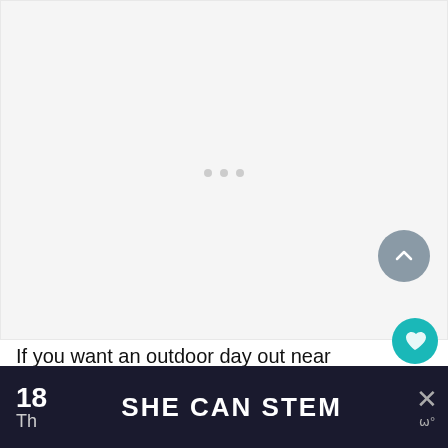[Figure (photo): Large image placeholder area with light gray background and three loading dots in the center]
If you want an outdoor day out near Birmingham then check out the Botanical Gardens. They were founded in Edgbaston in 18
18  SHE CAN STEM  × ш°